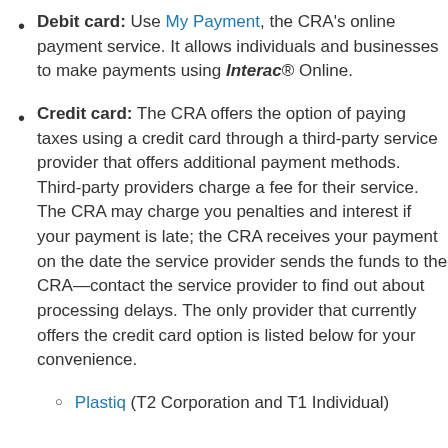Debit card: Use My Payment, the CRA's online payment service. It allows individuals and businesses to make payments using Interac® Online.
Credit card: The CRA offers the option of paying taxes using a credit card through a third-party service provider that offers additional payment methods. Third-party providers charge a fee for their service. The CRA may charge you penalties and interest if your payment is late; the CRA receives your payment on the date the service provider sends the funds to the CRA—contact the service provider to find out about processing delays. The only provider that currently offers the credit card option is listed below for your convenience.
Plastiq (T2 Corporation and T1 Individual)